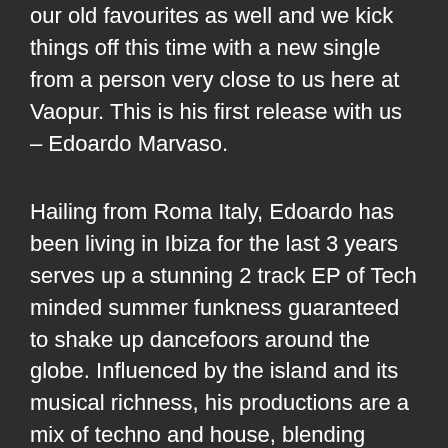our old favourites as well and we kick things off this time with a new single from a person very close to us here at Vaopur. This is his first release with us – Edoardo Marvaso.
Hailing from Roma Italy, Edoardo has been living in Ibiza for the last 3 years serves up a stunning 2 track EP of Tech minded summer funkness guaranteed to shake up dancefoors around the globe. Influenced by the island and its musical richness, his productions are a mix of techno and house, blending modern electronica with vintage grooves.Beside his residencies in Ibiza, he played many events abroad, most relevant being Glastonbury Festival, Rainbow Serpent, Universo